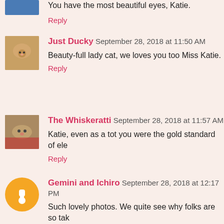You have the most beautiful eyes, Katie.
Reply
Just Ducky September 28, 2018 at 11:50 AM
Beauty-full lady cat, we loves you too Miss Katie.
Reply
The Whiskeratti September 28, 2018 at 11:57 AM
Katie, even as a tot you were the gold standard of ele
Reply
Gemini and Ichiro September 28, 2018 at 12:17 PM
Such lovely photos. We quite see why folks are so tak
Reply
katsrus September 28, 2018 at 3:40 PM